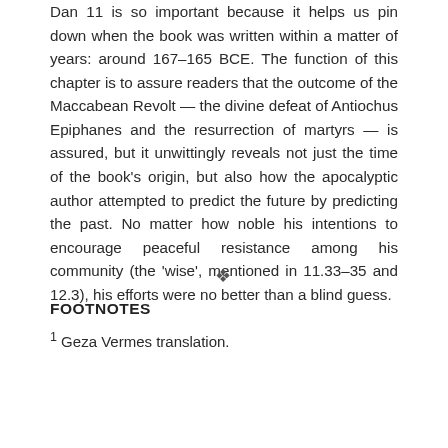Dan 11 is so important because it helps us pin down when the book was written within a matter of years: around 167–165 BCE. The function of this chapter is to assure readers that the outcome of the Maccabean Revolt — the divine defeat of Antiochus Epiphanes and the resurrection of martyrs — is assured, but it unwittingly reveals not just the time of the book's origin, but also how the apocalyptic author attempted to predict the future by predicting the past. No matter how noble his intentions to encourage peaceful resistance among his community (the 'wise', mentioned in 11.33–35 and 12.3), his efforts were no better than a blind guess.
FOOTNOTES
1 Geza Vermes translation.